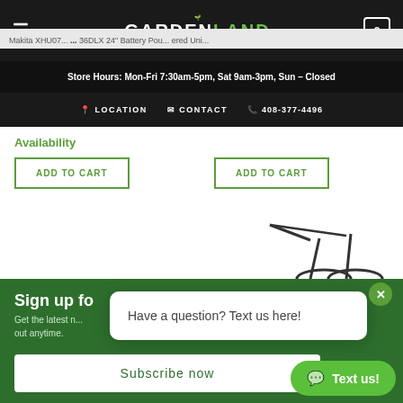GARDENLAND POWER EQUIPMENT EST. 1960
Store Hours: Mon-Fri 7:30am-5pm, Sat 9am-3pm, Sun – Closed
LOCATION   CONTACT   408-377-4496
Makita XHU07... 36DLX 24" Battery Pou... ered Uni...
Availability
ADD TO CART
ADD TO CART
[Figure (photo): Garden tool product image partially visible]
Sign up fo...
Get the latest n... out anytime.
Subscribe now
Have a question? Text us here!
Text us!